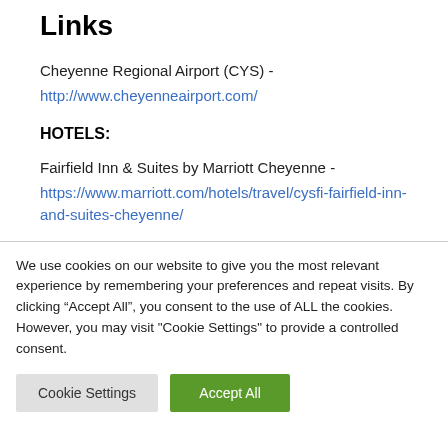Links
Cheyenne Regional Airport (CYS) -
http://www.cheyenneairport.com/
HOTELS:
Fairfield Inn & Suites by Marriott Cheyenne -
https://www.marriott.com/hotels/travel/cysfi-fairfield-inn-and-suites-cheyenne/
We use cookies on our website to give you the most relevant experience by remembering your preferences and repeat visits. By clicking “Accept All”, you consent to the use of ALL the cookies. However, you may visit "Cookie Settings" to provide a controlled consent.
Cookie Settings | Accept All